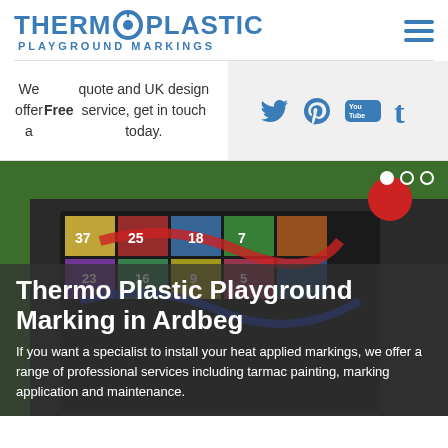[Figure (logo): Thermo Plastic Playground Markings logo with circular target icon in blue]
We offer a Free quote and UK design service, get in touch today.
[Figure (infographic): Social media icons: Twitter, Pinterest, YouTube, Tumblr in blue on grey background]
[Figure (photo): Playground with thermoplastic snakes and ladders markings on dark tarmac with green grass border. A red ball is visible.]
Thermo Plastic Playground Marking in Ardbeg
If you want a specialist to install your heat applied markings, we offer a range of professional services including tarmac painting, marking application and maintenance.